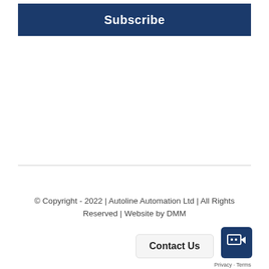Subscribe
© Copyright - 2022 | Autoline Automation Ltd | All Rights Reserved | Website by DMM
Contact Us
Privacy · Terms